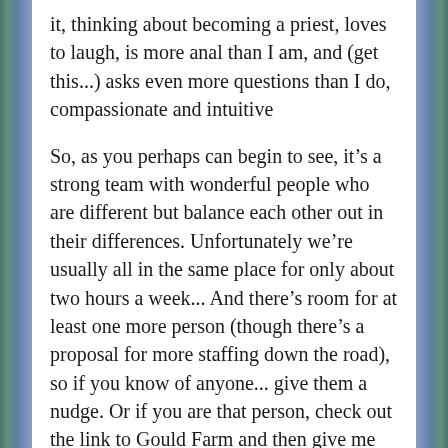it, thinking about becoming a priest, loves to laugh, is more anal than I am, and (get this...) asks even more questions than I do, compassionate and intuitive
So, as you perhaps can begin to see, it’s a strong team with wonderful people who are different but balance each other out in their differences. Unfortunately we’re usually all in the same place for only about two hours a week... And there’s room for at least one more person (though there’s a proposal for more staffing down the road), so if you know of anyone... give them a nudge. Or if you are that person, check out the link to Gould Farm and then give me (or the farm) a call or an e-mail or something.
Alright, I’m off to rest, and see if I can get a